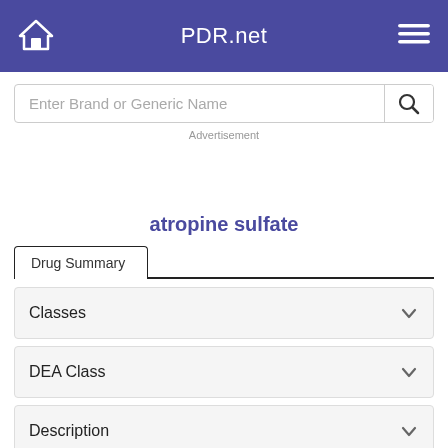PDR.net
Enter Brand or Generic Name
Advertisement
atropine sulfate
Drug Summary
Classes
DEA Class
Description
Common Brand Names